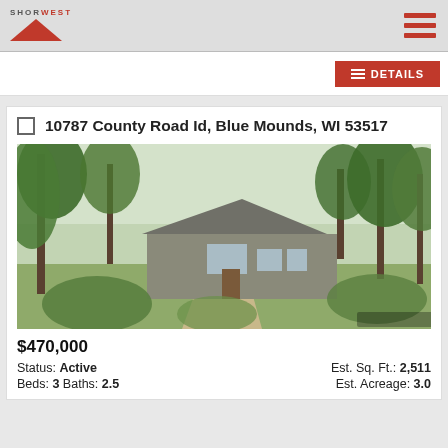Shorewest
10787 County Road Id, Blue Mounds, WI 53517
[Figure (photo): Exterior photo of a house surrounded by large mature trees with a dirt driveway leading to the home in Blue Mounds, WI]
$470,000
Status: Active   Est. Sq. Ft.: 2,511
Beds: 3  Baths: 2.5   Est. Acreage: 3.0